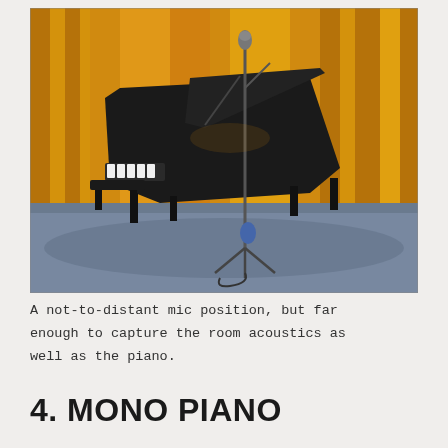[Figure (photo): A grand piano on a concert stage with a microphone stand positioned in front of it, set against golden/orange stage curtains. The stage floor appears in a blue-grey tone. The piano is black and its lid is open. A microphone is mounted on a tall stand near the piano.]
A not-to-distant mic position, but far enough to capture the room acoustics as well as the piano.
4. MONO PIANO